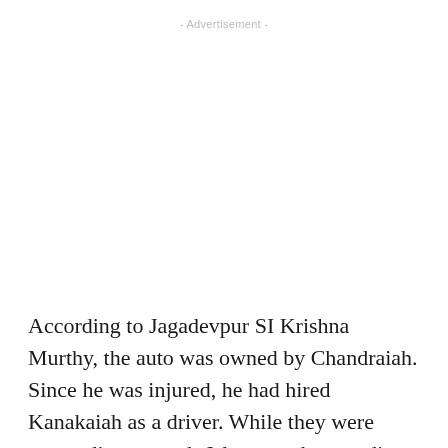- Advertisement -
According to Jagadevpur SI Krishna Murthy, the auto was owned by Chandraiah. Since he was injured, he had hired Kanakaiah as a driver. While they were proceeding towards Islampur, the speeding lorry carrying a Haryana number plate hit the auto. Death was instant for Kanakaiah and Kavitha while Lalitha and Chandraiah died while